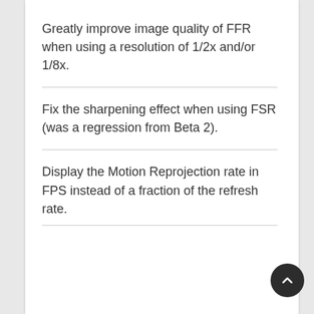Greatly improve image quality of FFR when using a resolution of 1/2x and/or 1/8x.
Fix the sharpening effect when using FSR (was a regression from Beta 2).
Display the Motion Reprojection rate in FPS instead of a fraction of the refresh rate.